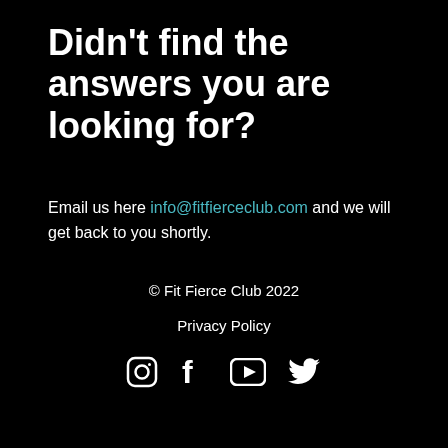Didn't find the answers you are looking for?
Email us here info@fitfierceclub.com and we will get back to you shortly.
© Fit Fierce Club 2022
Privacy Policy
[Figure (illustration): Social media icons: Instagram, Facebook, YouTube, Twitter]